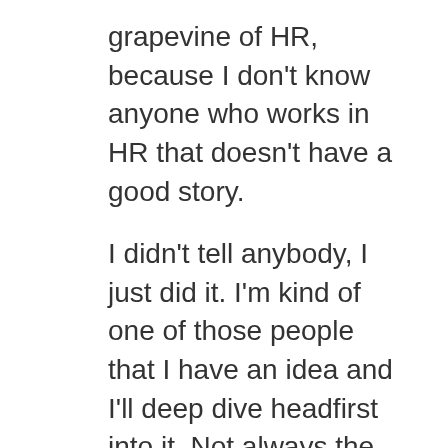grapevine of HR, because I don't know anyone who works in HR that doesn't have a good story.
I didn't tell anybody, I just did it. I'm kind of one of those people that I have an idea and I'll deep dive headfirst into it. Not always the best idea but I had the idea, I knew who it was for, I Googled podcasting host and picked the first one off the list, I didn't do any research, I didn't really know what I needed, or what I didn't need. I did know that it wasn't going to an interview style podcast, I didn't want anyone else to be involved. And I knew that I wanted it to take as little time as possible and to not really interfere with my everyday life. Also,